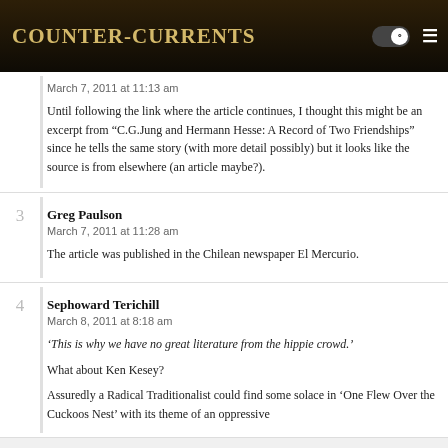Counter-Currents
March 7, 2011 at 11:13 am
Until following the link where the article continues, I thought this might be an excerpt from “C.G.Jung and Hermann Hesse: A Record of Two Friendships” since he tells the same story (with more detail possibly) but it looks like the source is from elsewhere (an article maybe?).
Greg Paulson
March 7, 2011 at 11:28 am
The article was published in the Chilean newspaper El Mercurio.
Sephoward Terichill
March 8, 2011 at 8:18 am
‘This is why we have no great literature from the hippie crowd.’
What about Ken Kesey?
Assuredly a Radical Traditionalist could find some solace in ‘One Flew Over the Cuckoos Nest’ with its theme of an oppressive